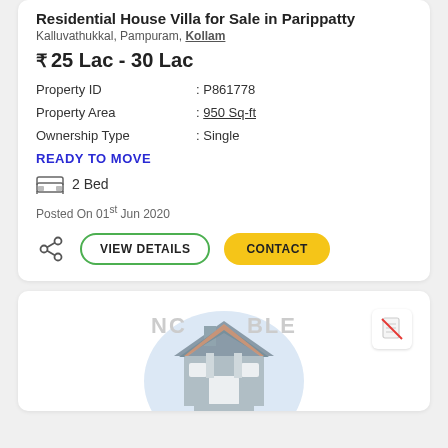Residential House Villa for Sale in Parippatty
Kalluvathukkal, Pampuram, Kollam
₹ 25 Lac - 30 Lac
| Property ID | : P861778 |
| Property Area | : 950 Sq-ft |
| Ownership Type | : Single |
READY TO MOVE
2 Bed
Posted On 01st Jun 2020
VIEW DETAILS  CONTACT
[Figure (illustration): House illustration with 'No Image Available' watermark text and a no-document icon]